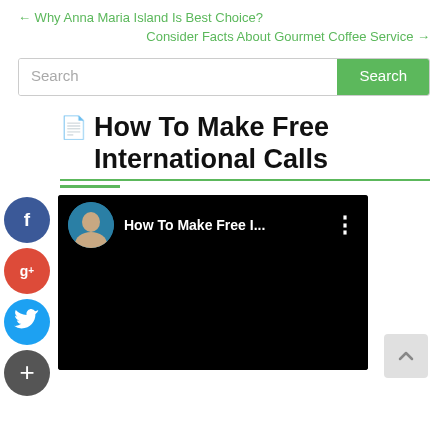← Why Anna Maria Island Is Best Choice?
Consider Facts About Gourmet Coffee Service →
Search
How To Make Free International Calls
[Figure (screenshot): YouTube video thumbnail showing a person with the title 'How To Make Free I...' and a three-dot menu icon, against a black background]
[Figure (infographic): Social media share buttons on the left side: Facebook (blue), Google+ (red), Twitter (blue), and a plus/more button (dark gray)]